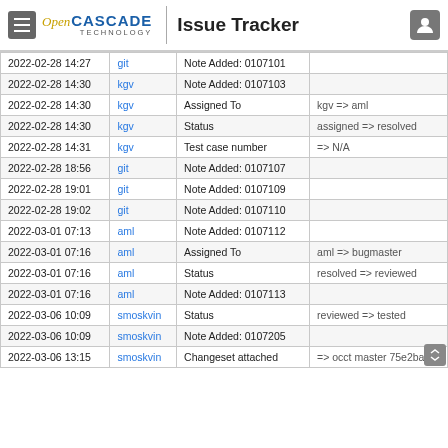Open CASCADE TECHNOLOGY | Issue Tracker
| Date | User | Field | Change |
| --- | --- | --- | --- |
| 2022-02-28 14:27 | git | Note Added: 0107101 |  |
| 2022-02-28 14:30 | kgv | Note Added: 0107103 |  |
| 2022-02-28 14:30 | kgv | Assigned To | kgv => aml |
| 2022-02-28 14:30 | kgv | Status | assigned => resolved |
| 2022-02-28 14:31 | kgv | Test case number | => N/A |
| 2022-02-28 18:56 | git | Note Added: 0107107 |  |
| 2022-02-28 19:01 | git | Note Added: 0107109 |  |
| 2022-02-28 19:02 | git | Note Added: 0107110 |  |
| 2022-03-01 07:13 | aml | Note Added: 0107112 |  |
| 2022-03-01 07:16 | aml | Assigned To | aml => bugmaster |
| 2022-03-01 07:16 | aml | Status | resolved => reviewed |
| 2022-03-01 07:16 | aml | Note Added: 0107113 |  |
| 2022-03-06 10:09 | smoskvin | Status | reviewed => tested |
| 2022-03-06 10:09 | smoskvin | Note Added: 0107205 |  |
| 2022-03-06 13:15 | smoskvin | Changeset attached | => occt master 75e2ba16 |